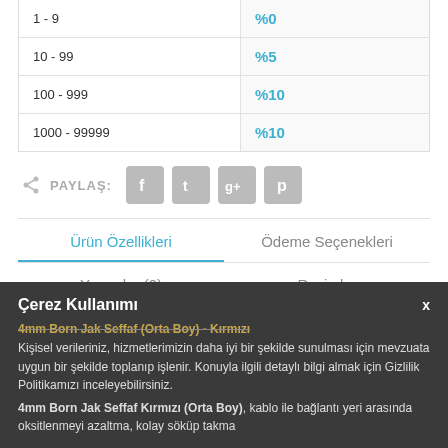|  |  |
| --- | --- |
| 1 - 9 | %0 |
| 10 - 99 | %5 |
| 100 - 999 | %10 |
| 1000 - 99999 | %10 |
PAYLAŞ: [social icons: Facebook, Twitter, Google+, Pinterest]
Ürün Özellikleri | Ödeme Seçenekleri | Yorumlar (0) | Resimler
Çerez Kullanımı
4mm Born Jak Seffaf (Orta Boy) - Kırmızı
Kişisel verileriniz, hizmetlerimizin daha iyi bir şekilde sunulması için mevzuata uygun bir şekilde toplanıp işlenir. Konuyla ilgili detaylı bilgi almak için Gizlilik Politikamızı inceleyebilirsiniz.
4mm Born Jak Seffaf Kırmızı (Orta Boy), kablo ile bağlantı yeri arasında oksitlenmeyi azaltma, kolay söküp takma